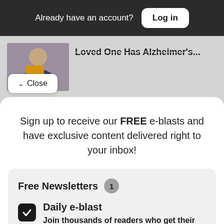Already have an account? Log in
[Figure (screenshot): Partially visible article with thumbnail of person reading a book, title 'Loved One Has Alzheimer's...']
Close
[Figure (screenshot): Partially visible article with teal thumbnail, title 'The Power of Music in Fighting']
Sign up to receive our FREE e-blasts and have exclusive content delivered right to your inbox!
Free Newsletters 1
Daily e-blast — Join thousands of readers who get their coverage on Black communities from the media company who has been doing it